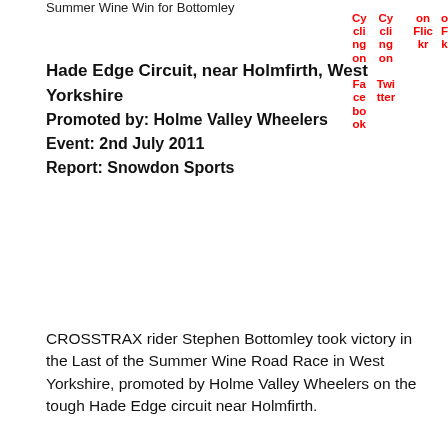Summer Wine Win for Bottomley
Hade Edge Circuit, near Holmfirth, West Yorkshire
Promoted by: Holme Valley Wheelers
Event: 2nd July 2011
Report: Snowdon Sports
CROSSTRAX rider Stephen Bottomley took victory in the Last of the Summer Wine Road Race in West Yorkshire, promoted by Holme Valley Wheelers on the tough Hade Edge circuit near Holmfirth.
Bottomley edged ahead of his rivals in a bunch sprint finish to the race, which largely stayed together despite several attempts to break clear which never really got far.
As the race headed to the top of the last climb of Flight Hill, Pudsey-based Bottomley made his move and gained vital inches over his rivals which he held to the line, while Ashfield Road Club's Stuart Murfin took second.